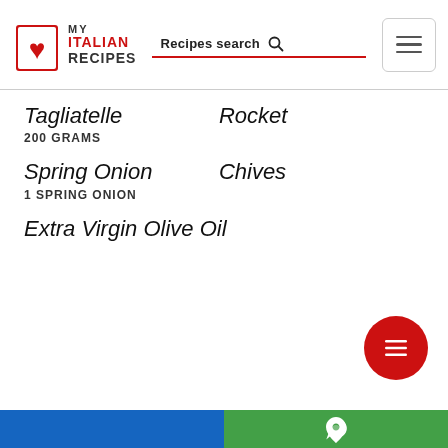MY ITALIAN RECIPES — Recipes search
Tagliatelle
200 GRAMS
Rocket
Spring Onion
1 SPRING ONION
Chives
Extra Virgin Olive Oil